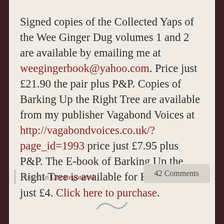Signed copies of the Collected Yaps of the Wee Ginger Dug volumes 1 and 2 are available by emailing me at weegingerbook@yahoo.com. Price just £21.90 the pair plus P&P. Copies of Barking Up the Right Tree are available from my publisher Vagabond Voices at http://vagabondvoices.co.uk/?page_id=1993 price just £7.95 plus P&P. The E-book of Barking Up the Right Tree is available for Kindle for just £4. Click here to purchase.
Posted in Uncategorized
42 Comments